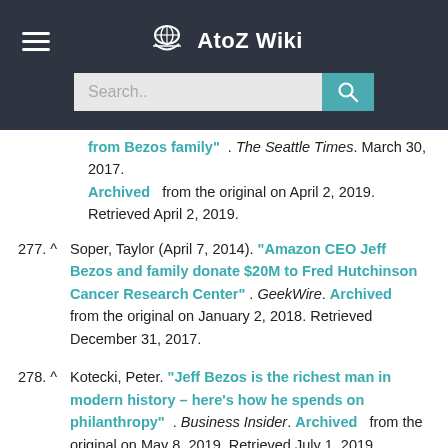AtoZ Wiki
from Bezos family" . The Seattle Times. March 30, 2017. Archived from the original on April 2, 2019. Retrieved April 2, 2019.
277. ^ Soper, Taylor (April 7, 2014). "Amazon CEO Jeff Bezos and family donate $20M to Fred Hutchinson Cancer Research Center" . GeekWire. Archived from the original on January 2, 2018. Retrieved December 31, 2017.
278. ^ Kotecki, Peter. "Jeff Bezos is the richest man in modern history – here's how he spends on philanthropy" . Business Insider. Archived from the original on May 8, 2019. Retrieved July 1, 2019.
279. ^ Kim, Eugene (September 16, 2018). "Unanswered questions about Jeff Bezos' new $2 billion philanthropic